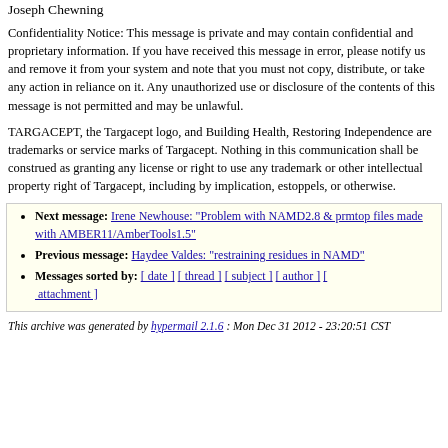Joseph Chewning
Confidentiality Notice: This message is private and may contain confidential and proprietary information. If you have received this message in error, please notify us and remove it from your system and note that you must not copy, distribute, or take any action in reliance on it. Any unauthorized use or disclosure of the contents of this message is not permitted and may be unlawful.
TARGACEPT, the Targacept logo, and Building Health, Restoring Independence are trademarks or service marks of Targacept. Nothing in this communication shall be construed as granting any license or right to use any trademark or other intellectual property right of Targacept, including by implication, estoppels, or otherwise.
Next message: Irene Newhouse: "Problem with NAMD2.8 & prmtop files made with AMBER11/AmberTools1.5"
Previous message: Haydee Valdes: "restraining residues in NAMD"
Messages sorted by: [ date ] [ thread ] [ subject ] [ author ] [ attachment ]
This archive was generated by hypermail 2.1.6 : Mon Dec 31 2012 - 23:20:51 CST